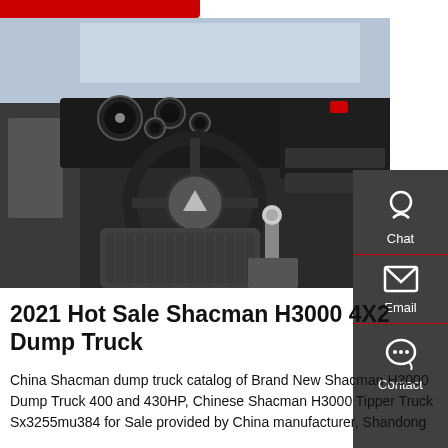[Figure (photo): Interior view of a Shacman H3000 dump truck cab, showing the steering wheel with Shacman logo, dashboard with instrument cluster, gear shift, and driver's seat]
2021 Hot Sale Shacman H3000 4X2 Dump Truck
China Shacman dump truck catalog of Brand New Shacman H3000 Dump Truck 400 and 430HP, Chinese Shacman H3000 Tipper Truck Sx3255mu384 for Sale provided by China manufacturer, Shandong